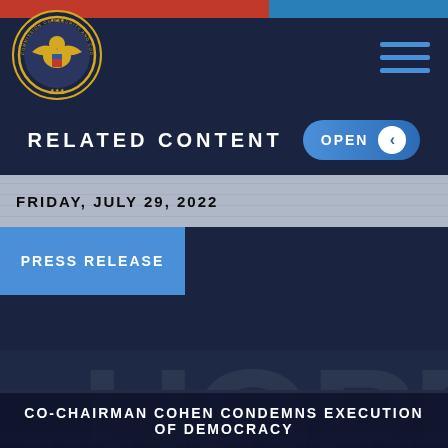[Figure (logo): Commission on Security and Cooperation in Europe seal/logo, gold eagle emblem on dark navy background]
RELATED CONTENT
OPEN
FRIDAY, JULY 29, 2022
PRESS RELEASE
CO-CHAIRMAN COHEN CONDEMNS EXECUTION OF DEMOCRACY